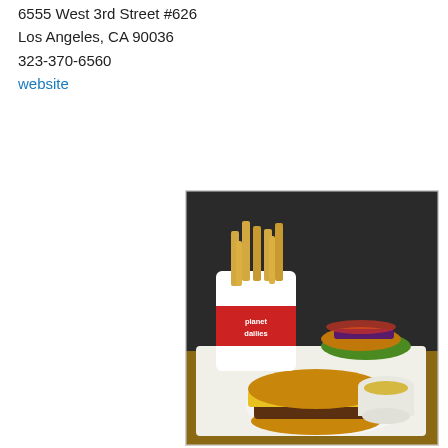6555 West 3rd Street #626
Los Angeles, CA 90036
323-370-6560
website
[Figure (photo): Photo of food from Planet Dailies restaurant: a tray with a cheeseburger in the foreground topped with melted yellow cheese, a second burger or sandwich with lettuce, tomato, onion, and eggplant in the background, a white cup of dipping sauce, and a white paper cup branded 'planet dailies' filled with French fries.]